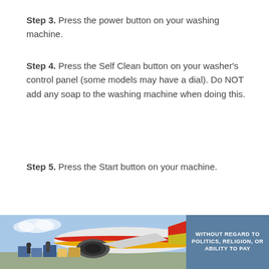Step 3. Press the power button on your washing machine.
Step 4. Press the Self Clean button on your washer's control panel (some models may have a dial). Do NOT add any soap to the washing machine when doing this.
Step 5. Press the Start button on your machine.
[Figure (photo): Advertisement banner showing cargo being loaded onto a Southwest Airlines aircraft, with text overlay reading 'WITHOUT REGARD TO POLITICS, RELIGION, OR ABILITY TO PAY']